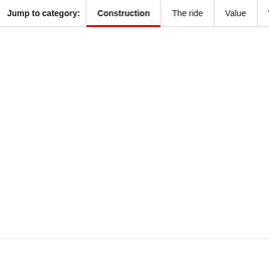Jump to category: Construction | The ride | Value | Verdict